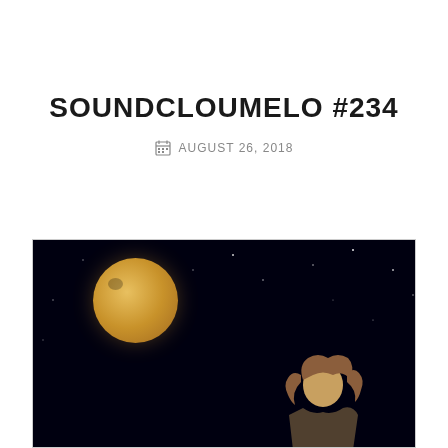SOUNDCLOUMELO #234
AUGUST 26, 2018
[Figure (photo): Album or podcast cover art showing a full moon against a dark space background with a person (back view, with wavy hair) and the Earth's horizon glowing blue at the bottom. White italic text 'Soundcloumelo' overlaid near the bottom.]